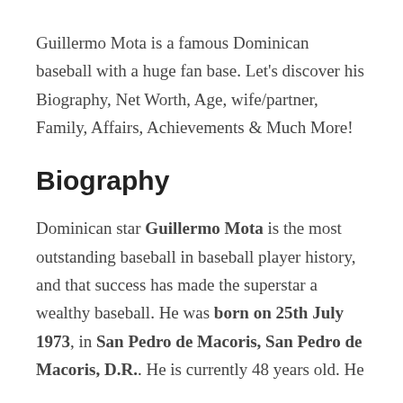Guillermo Mota is a famous Dominican baseball with a huge fan base. Let's discover his Biography, Net Worth, Age, wife/partner, Family, Affairs, Achievements & Much More!
Biography
Dominican star Guillermo Mota is the most outstanding baseball in baseball player history, and that success has made the superstar a wealthy baseball. He was born on 25th July 1973, in San Pedro de Macoris, San Pedro de Macoris, D.R.. He is currently 48 years old. He